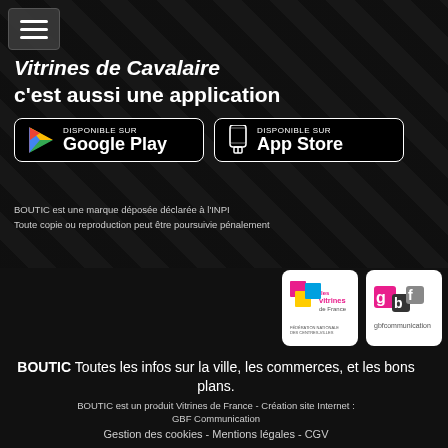[Figure (screenshot): Hamburger menu icon button in top-left corner]
Vitrines de Cavalaire c'est aussi une application
[Figure (logo): Google Play store button - DISPONIBLE SUR Google Play]
[Figure (logo): App Store button - Disponible sur App Store]
BOUTIC est une marque déposée déclarée à l'INPI
Toute copie ou reproduction peut être poursuivie pénalement
[Figure (logo): Les Vitrines de France logo - Fédération nationale des centres-villes]
[Figure (logo): GBF Communication logo]
BOUTIC Toutes les infos sur la ville, les commerces, et les bons plans.
BOUTIC est un produit Vitrines de France - Création site Internet : GBF Communication
Gestion des cookies - Mentions légales - CGV